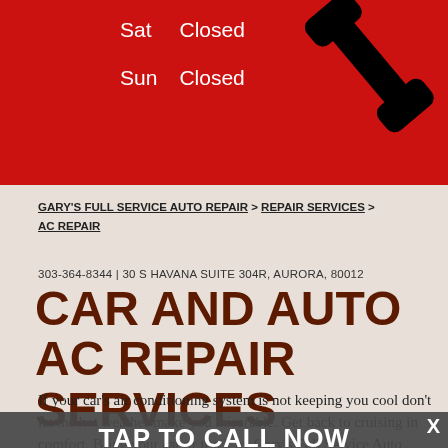Sat   Closed
Sun   Closed
GARY'S FULL SERVICE AUTO REPAIR > REPAIR SERVICES > AC REPAIR
303-364-8344 | 30 S HAVANA SUITE 304R, AURORA, 80012
CAR AND AUTO AC REPAIR SERVICES
TAP TO CALL NOW
303-364-8344
If your car's air conditioning system is not keeping you cool don't let the hot weather make you miserable. Get back to cruising in comfort. Bring your car or truck by Gary's Full Service Auto Repair in Aurora and we'll get your AC working again. Call now at 303-364-8344 or stop